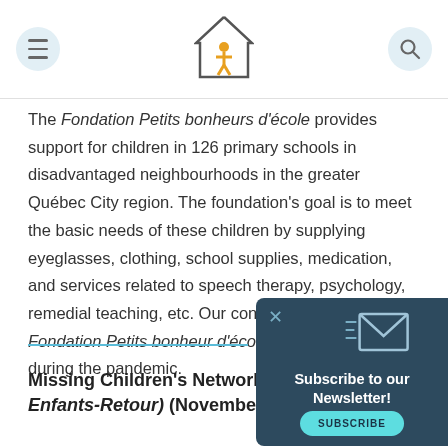[Navigation header with menu icon, house/person logo, and search icon]
The Fondation Petits bonheurs d'école provides support for children in 126 primary schools in disadvantaged neighbourhoods in the greater Québec City region. The foundation's goal is to meet the basic needs of these children by supplying eyeglasses, clothing, school supplies, medication, and services related to speech therapy, psychology, remedial teaching, etc. Our contributions help the Fondation Petits bonheur d'école maintain activities during the pandemic.
[Figure (other): Newsletter subscription popup overlay with dark blue background (#2d4a5e), close (X) button, envelope icon with motion lines, bold white text 'Subscribe to our Newsletter!', and a teal/cyan rounded button labeled 'SUBSCRIBE']
Missing Children's Network (Réseau Enfants-Retour) (November 9, 2020)